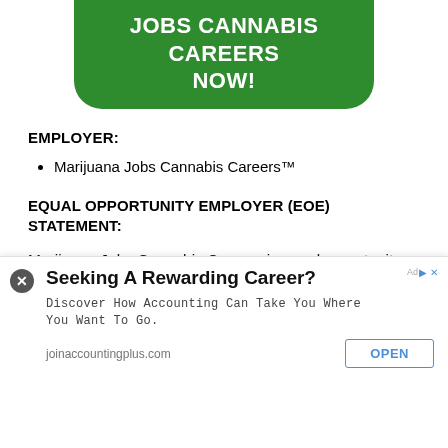[Figure (logo): Green rounded banner with white bold text: JOBS CANNABIS CAREERS NOW!]
EMPLOYER:
Marijuana Jobs Cannabis Careers™
EQUAL OPPORTUNITY EMPLOYER (EOE) STATEMENT:
Marijuana Jobs Cannabis Careers is equal opportunity employer. All aspects of employment including the decision to hire, promote, discipline, or discharge, will be b... a... o... cl...
[Figure (screenshot): Ad overlay: Seeking A Rewarding Career? Discover How Accounting Can Take You Where You Want To Go. joinaccountingplus.com OPEN button]